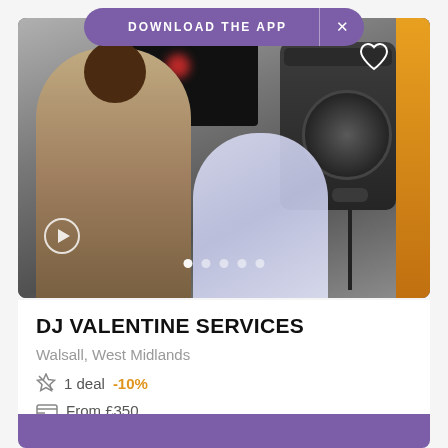DOWNLOAD THE APP  ×
[Figure (photo): DJ Valentine posing next to a large speaker at a DJ setup with lights and equipment in the background]
DJ VALENTINE SERVICES
Walsall, West Midlands
1 deal  -10%
From £350